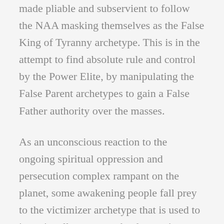made pliable and subservient to follow the NAA masking themselves as the False King of Tyranny archetype. This is in the attempt to find absolute rule and control by the Power Elite, by manipulating the False Parent archetypes to gain a False Father authority over the masses.
As an unconscious reaction to the ongoing spiritual oppression and persecution complex rampant on the planet, some awakening people fall prey to the victimizer archetype that is used to intentionally generate the destructive sides of the hero-savior or messiah complex. A messiah complex (also known as the Christ complex or savior complex) is a state of mind in which an individual holds a belief that they are destined to become a savior. The term can